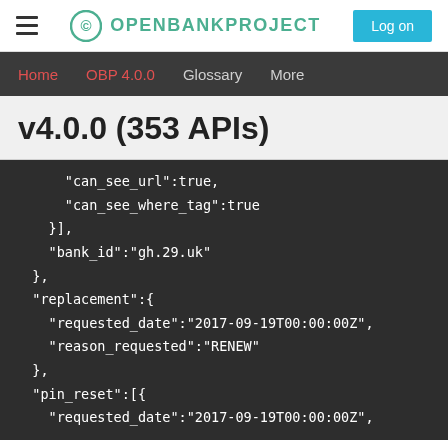OpenBankProject - Log on
Home  OBP 4.0.0  Glossary  More
v4.0.0 (353 APIs)
"can_see_url":true,
      "can_see_where_tag":true
    }],
    "bank_id":"gh.29.uk"
  },
  "replacement":{
    "requested_date":"2017-09-19T00:00:00Z",
    "reason_requested":"RENEW"
  },
  "pin_reset":[{
    "requested_date":"2017-09-19T00:00:00Z",